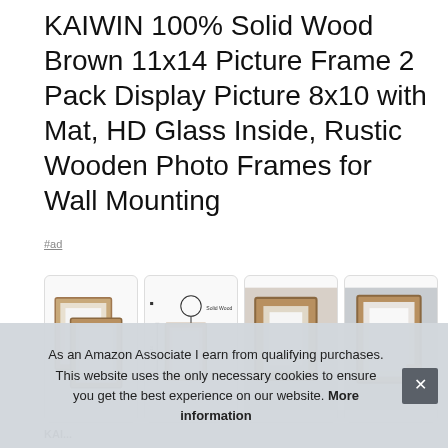KAIWIN 100% Solid Wood Brown 11x14 Picture Frame 2 Pack Display Picture 8x10 with Mat, HD Glass Inside, Rustic Wooden Photo Frames for Wall Mounting
#ad
[Figure (photo): Four product thumbnail photos of wooden picture frames in a row]
As an Amazon Associate I earn from qualifying purchases. This website uses the only necessary cookies to ensure you get the best experience on our website. More information